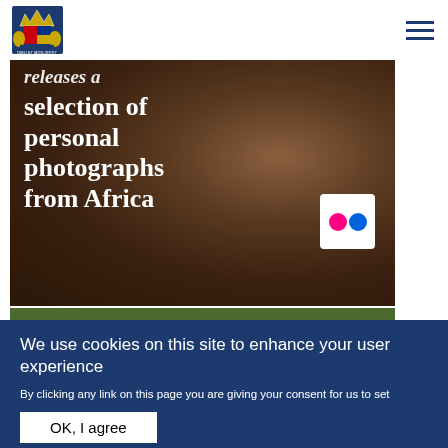Royal UK Government website header with logo and navigation
[Figure (photo): Close-up photograph of an elephant's skin/face from Africa, with overlaid white text reading 'releases a selection of personal photographs from Africa' and a Flickr icon in the bottom right]
We use cookies on this site to enhance your user experience
By clicking any link on this page you are giving your consent for us to set cookies. No, give me more info
OK, I agree